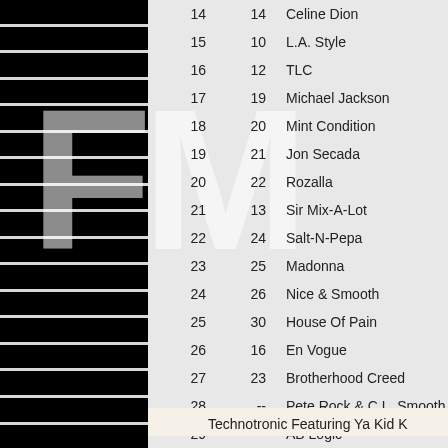| # | Last | Artist |
| --- | --- | --- |
| 14 | 14 | Celine Dion |
| 15 | 10 | L.A. Style |
| 16 | 12 | TLC |
| 17 | 19 | Michael Jackson |
| 18 | 20 | Mint Condition |
| 19 | 21 | Jon Secada |
| 20 | 22 | Rozalla |
| 21 | 13 | Sir Mix-A-Lot |
| 22 | 24 | Salt-N-Pepa |
| 23 | 25 | Madonna |
| 24 | 26 | Nice & Smooth |
| 25 | 30 | House Of Pain |
| 26 | 16 | En Vogue |
| 27 | 23 | Brotherhood Creed |
| 28 | -- | Pete Rock & C.L. Smooth |
| 29 | -- | AB Logic |
| 30 | 29 | Kris Kross |
Technotronic Featuring Ya Kid K